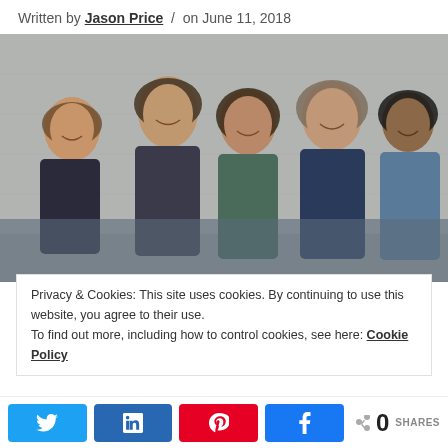Written by Jason Price / on June 11, 2018
[Figure (photo): Group photo of five men with long hair and beards standing in front of a white brick wall. They are dressed casually in jeans, t-shirts, and button-up shirts.]
Privacy & Cookies: This site uses cookies. By continuing to use this website, you agree to their use. To find out more, including how to control cookies, see here: Cookie Policy
< 0 SHARES